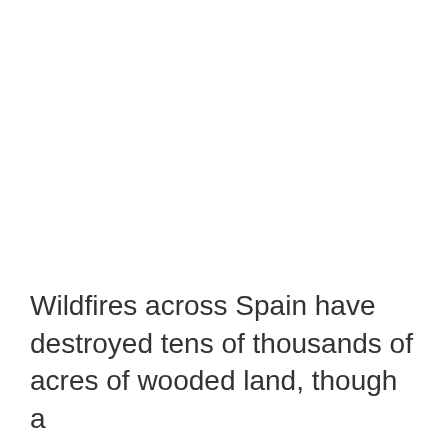Wildfires across Spain have destroyed tens of thousands of acres of wooded land, though a